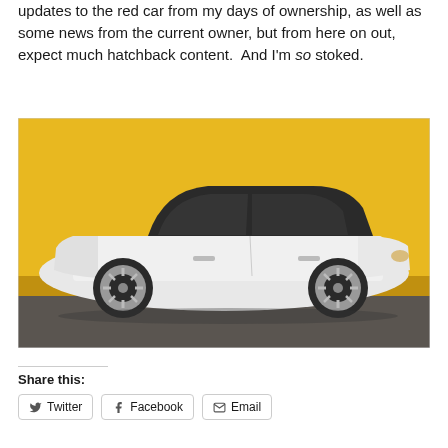updates to the red car from my days of ownership, as well as some news from the current owner, but from here on out, expect much hatchback content.  And I'm so stoked.
[Figure (photo): White hatchback car (early 1990s compact hatchback) parked against a bright yellow wall on a grey concrete/asphalt surface, viewed from the side profile.]
Share this:
Twitter  Facebook  Email